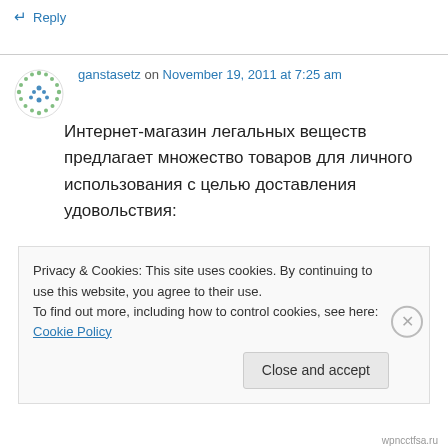↵ Reply
ganstasetz on November 19, 2011 at 7:25 am
Интернет-магазин легальных веществ предлагает множество товаров для личного использования с целью доставления удовольствия:
Privacy & Cookies: This site uses cookies. By continuing to use this website, you agree to their use.
To find out more, including how to control cookies, see here: Cookie Policy
Close and accept